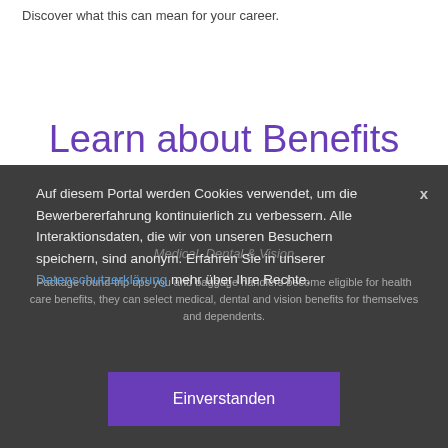Discover what this can mean for your career.
Learn about Benefits
Auf diesem Portal werden Cookies verwendet, um die Bewerbererfahrung kontinuierlich zu verbessern. Alle Interaktionsdaten, die wir von unseren Besuchern speichern, sind anonym. Erfahren Sie in unserer Datenschutzerklärung mehr über Ihre Rechte.
Medical, Dental & Vision
Package round-trip ups you and baggage handlers become eligible for health care benefits, they can select medical, dental and vision benefits for themselves and dependents.
Einverstanden